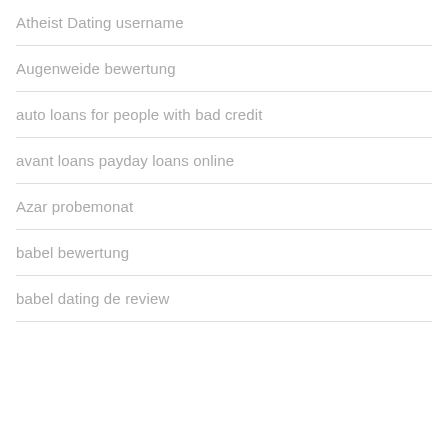Atheist Dating username
Augenweide bewertung
auto loans for people with bad credit
avant loans payday loans online
Azar probemonat
babel bewertung
babel dating de review